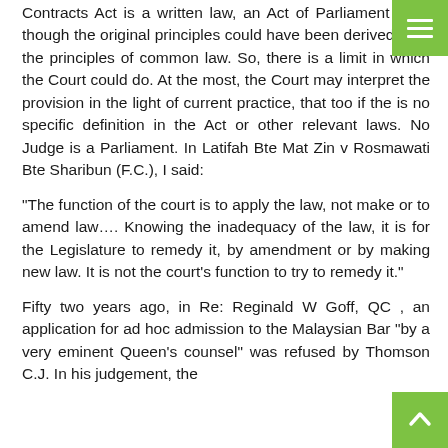Contracts Act is a written law, an Act of Parliament even though the original principles could have been derived from the principles of common law. So, there is a limit in which the Court could do. At the most, the Court may interpret the provision in the light of current practice, that too if the is no specific definition in the Act or other relevant laws. No Judge is a Parliament. In Latifah Bte Mat Zin v Rosmawati Bte Sharibun (F.C.), I said:
"The function of the court is to apply the law, not make or to amend law…. Knowing the inadequacy of the law, it is for the Legislature to remedy it, by amendment or by making new law. It is not the court's function to try to remedy it."
Fifty two years ago, in Re: Reginald W Goff, QC , an application for ad hoc admission to the Malaysian Bar "by a very eminent Queen's counsel" was refused by Thomson C.J. In his judgement, the